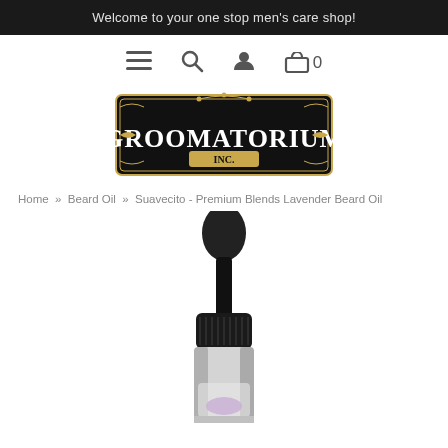Welcome to your one stop men's care shop!
[Figure (logo): Groomatorium Inc. ornate vintage logo with decorative border]
Home » Beard Oil » Suavecito - Premium Blends Lavender Beard Oil
[Figure (photo): Suavecito Premium Blends Lavender Beard Oil bottle with black dropper top, silver aluminum bottle, partially cropped at bottom]